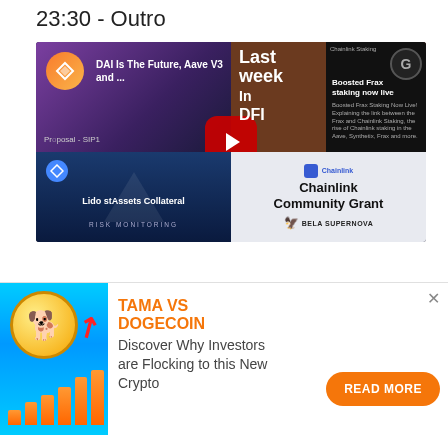23:30 - Outro
[Figure (screenshot): YouTube video thumbnail for 'DAI Is The Future, Aave V3 and ...' showing multiple crypto-related panels including Synthetix, Last Week in DeFi, Boosted Frax staking, Lido stAssets Collateral, and Chainlink Community Grant]
[Figure (infographic): Advertisement banner: TAMA VS DOGECOIN with crypto coin graphic, bar chart rising, and 'Discover Why Investors are Flocking to this New Crypto' text with READ MORE button]